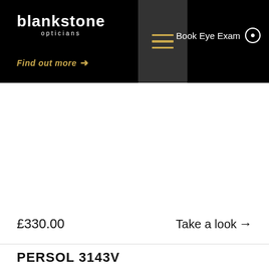[Figure (logo): Blankstone Opticians logo — white bold text 'blankstone' with small 'opticians' subtitle below]
Book Eye Exam
Find out more →
£330.00
Take a look →
PERSOL 3143V